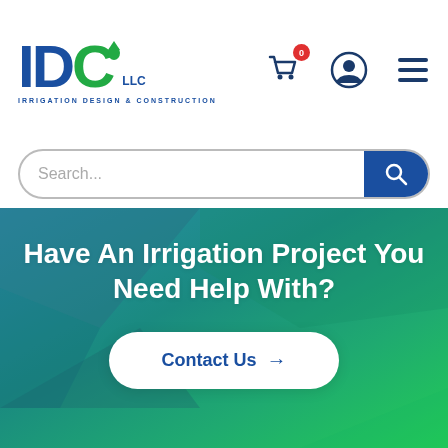[Figure (logo): IDC LLC Irrigation Design & Construction logo with blue letters I, D and green C with water drop, tagline IRRIGATION DESIGN & CONSTRUCTION]
[Figure (screenshot): Header navigation icons: shopping cart with red badge showing 0, user account icon, hamburger menu icon]
[Figure (screenshot): Search bar with placeholder text Search... and blue search button with magnifying glass icon]
Have An Irrigation Project You Need Help With?
Contact Us →